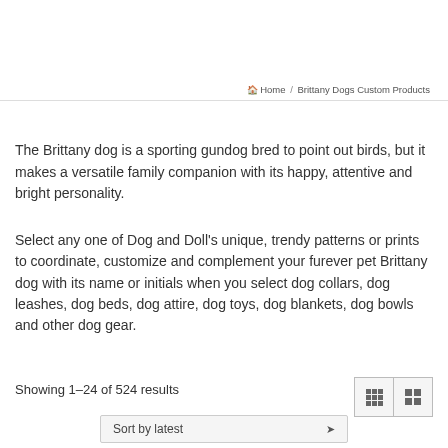🏠 Home / Brittany Dogs Custom Products
The Brittany dog is a sporting gundog bred to point out birds, but it makes a versatile family companion with its happy, attentive and bright personality.
Select any one of Dog and Doll's unique, trendy patterns or prints to coordinate, customize and complement your furever pet Brittany dog with its name or initials when you select dog collars, dog leashes, dog beds, dog attire, dog toys, dog blankets, dog bowls and other dog gear.
Showing 1–24 of 524 results
[Figure (screenshot): View toggle icons (grid and list view)]
Sort by latest